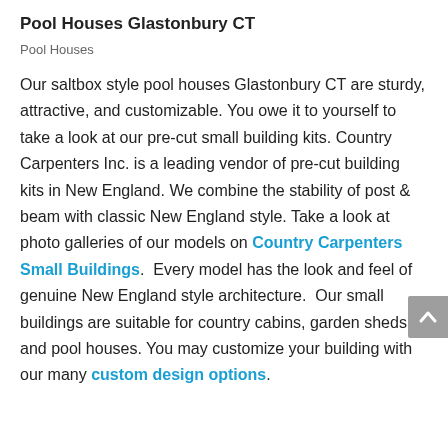Pool Houses Glastonbury CT
Pool Houses
Our saltbox style pool houses Glastonbury CT are sturdy, attractive, and customizable. You owe it to yourself to take a look at our pre-cut small building kits. Country Carpenters Inc. is a leading vendor of pre-cut building kits in New England. We combine the stability of post & beam with classic New England style. Take a look at photo galleries of our models on Country Carpenters Small Buildings.  Every model has the look and feel of genuine New England style architecture.  Our small buildings are suitable for country cabins, garden sheds and pool houses. You may customize your building with our many custom design options.